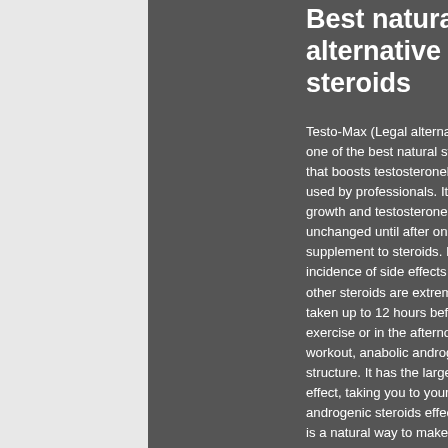Best natural alternative to steroids
Testo-Max (Legal alternative to Sustanon) It is one of the best natural steroids in the market that boosts testosteronelevels. It is widely used by professionals. Its effects on muscle growth and testosterone levels remain unchanged until after one year's use, closest supplement to steroids. It has the lowest incidence of side effects and side effects of other steroids are extremely minimal. It can be taken up to 12 hours before and 2 hours after exercise or in the afternoon after an evening workout, anabolic androgenic steroid chemical structure. It has the largest and longest-lasting effect, taking you to your peak, anabolic androgenic steroids effects on the brain. This is a natural way to make your testosterone level higher.